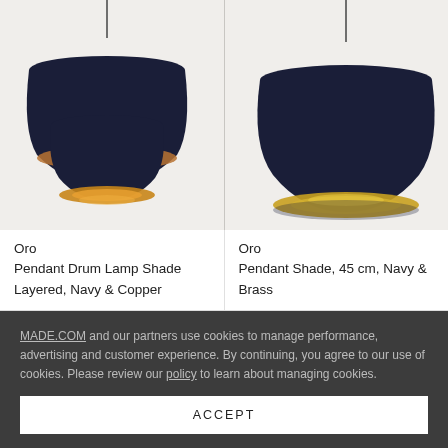[Figure (photo): Navy blue layered pendant drum lamp shade with copper interior, hanging from a cord, against a light grey background.]
[Figure (photo): Navy blue pendant shade with brass interior, 45 cm, hanging from a cord, against a light grey background.]
Oro
Pendant Drum Lamp Shade Layered, Navy & Copper
Oro
Pendant Shade, 45 cm, Navy & Brass
MADE.COM and our partners use cookies to manage performance, advertising and customer experience. By continuing, you agree to our use of cookies. Please review our policy to learn about managing cookies.
ACCEPT